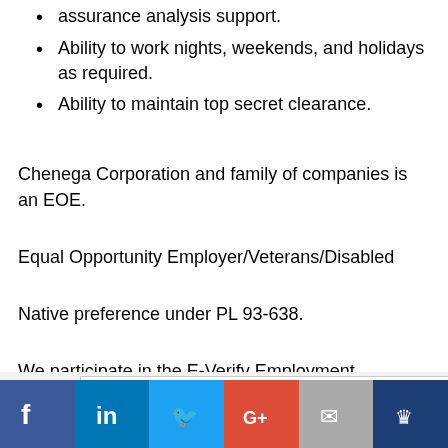assurance analysis support.
Ability to work nights, weekends, and holidays as required.
Ability to maintain top secret clearance.
Chenega Corporation and family of companies is an EOE.
Equal Opportunity Employer/Veterans/Disabled
Native preference under PL 93-638.
We participate in the E-Verify Employment Verification Program.
[Figure (screenshot): Mobile app advertisement banner for LT Rush Stone & Fireplace with Open button, followed by Send/Save action bar and social media sharing buttons (Facebook, LinkedIn, Twitter, Google+, Email, Crown/other).]